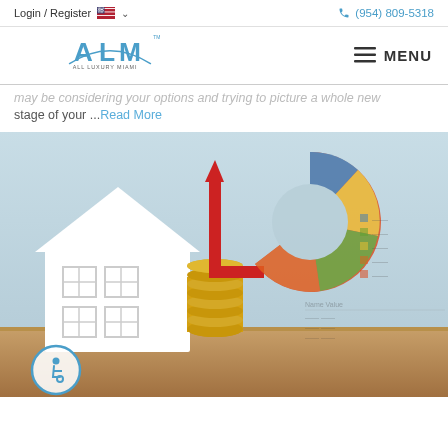Login / Register   🇺🇸 ∨   (954) 809-5318
[Figure (logo): ALM All Luxury Miami logo]
may be considering your options and trying to picture a whole new stage of your ...Read More
[Figure (photo): A white model house next to a stack of gold coins with a red upward arrow, and a blurred donut chart in the background, symbolizing real estate investment and rising property values.]